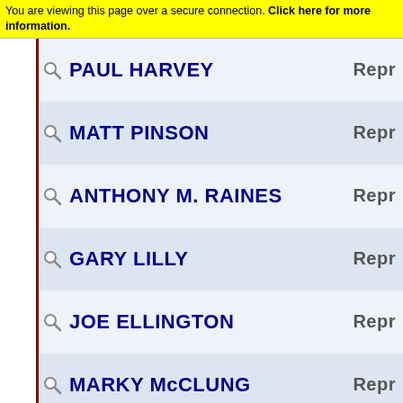You are viewing this page over a secure connection. Click here for more information.
PAUL HARVEY — Repr
MATT PINSON — Repr
ANTHONY M. RAINES — Repr
GARY LILLY — Repr
JOE ELLINGTON — Repr
MARKY McCLUNG — Repr
RANDY TOMBLIN — Repr
ROBERTA SORG — Repr
MICHAEL ANKROM — Repr
GRANT IMES — Repr
JOHN J. FAUBER — Repr
BENJEAN RAPP — Repr
JACK DAVID WOODRUM — Repr
MIKE BAISDEN — Repr
GARY L. JOHNGRASS — Repr